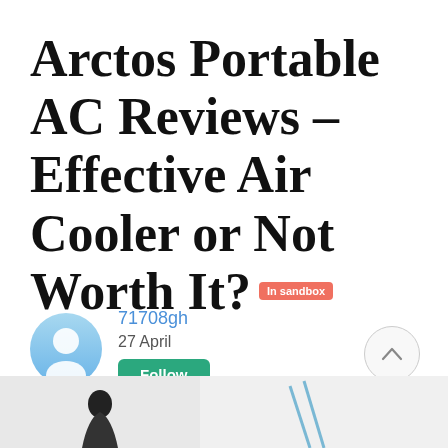Arctos Portable AC Reviews – Effective Air Cooler or Not Worth It? [In sandbox]
71708gh
27 April
Follow
[Figure (photo): Partial view of a person with diagonal lines/patterns, bottom of page]